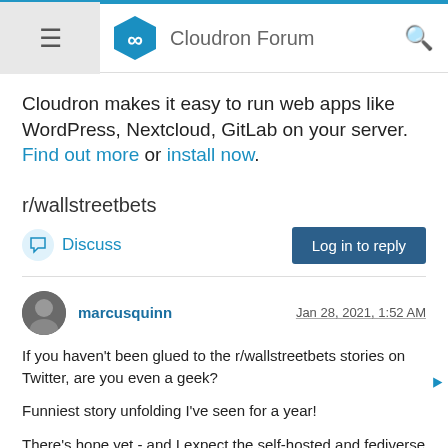Cloudron Forum
Cloudron makes it easy to run web apps like WordPress, Nextcloud, GitLab on your server. Find out more or install now.
r/wallstreetbets
Discuss   Log in to reply
marcusquinn   Jan 28, 2021, 1:52 AM
If you haven't been glued to the r/wallstreetbets stories on Twitter, are you even a geek?

Funniest story unfolding I've seen for a year!

There's hope yet - and I expect the self-hosted and fediverse interest will only grow, as the battle between centralised and